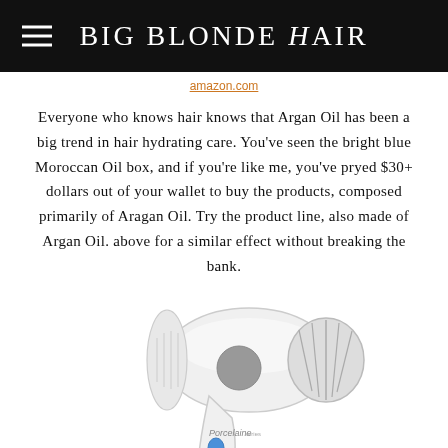BIG BLONDE HAIR
amazon.com
Everyone who knows hair knows that Argan Oil has been a big trend in hair hydrating care. You've seen the bright blue Moroccan Oil box, and if you're like me, you've pryed $30+ dollars out of your wallet to buy the products, composed primarily of Aragan Oil. Try the product line, also made of Argan Oil. above for a similar effect without breaking the bank.
[Figure (photo): A white Porcelaine hair dryer with gray accents and diffuser attachment]